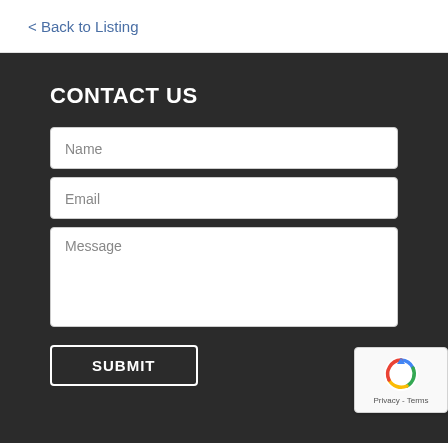< Back to Listing
CONTACT US
Name
Email
Message
SUBMIT
[Figure (logo): reCAPTCHA badge with rotating arrows logo and 'Privacy - Terms' text]